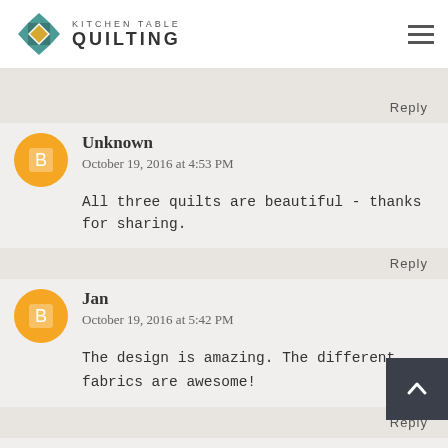Kitchen Table Quilting
together. I would like to have the same colors that
Reply
Unknown
October 19, 2016 at 4:53 PM

All three quilts are beautiful - thanks for sharing.
Reply
Jan
October 19, 2016 at 5:42 PM

The design is amazing. The different fabrics are awesome!
Reply